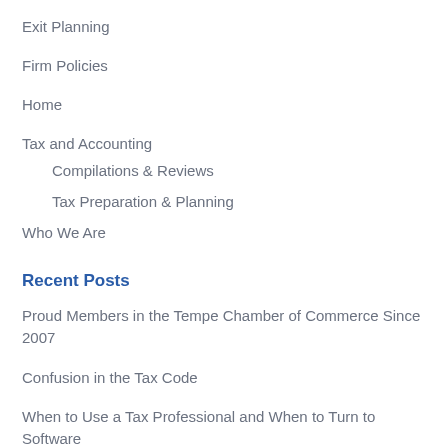Exit Planning
Firm Policies
Home
Tax and Accounting
Compilations & Reviews
Tax Preparation & Planning
Who We Are
Recent Posts
Proud Members in the Tempe Chamber of Commerce Since 2007
Confusion in the Tax Code
When to Use a Tax Professional and When to Turn to Software